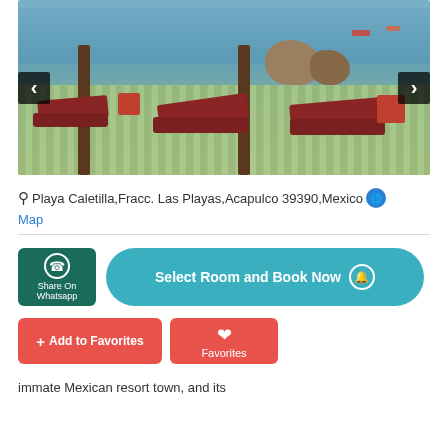[Figure (photo): Beach resort deck with red lounge chairs, wooden pillars, large boulders and blue water in the background. Navigation arrows on left and right.]
Playa Caletilla,Fracc. Las Playas,Acapulco 39390,Mexico
Map
Share On Whatsapp
Select Room and Book Now
+ Add to Favorites
Favorites
immate Mexican resort town, and its